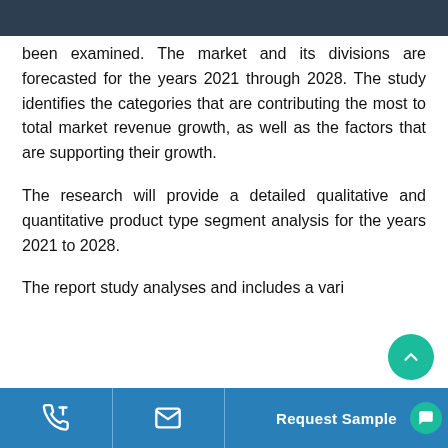been examined. The market and its divisions are forecasted for the years 2021 through 2028. The study identifies the categories that are contributing the most to total market revenue growth, as well as the factors that are supporting their growth.
The research will provide a detailed qualitative and quantitative product type segment analysis for the years 2021 to 2028.
The report study analyses and includes a vari...